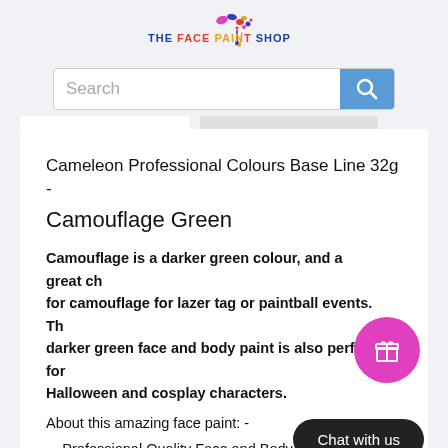[Figure (logo): The Face Paint Shop logo with colorful paint splatter]
Search
Cameleon Professional Colours Base Line 32g - Camouflage Green
Camouflage is a darker green colour, and a great choice for camouflage for lazer tag or paintball events. This darker green face and body paint is also perfect for Halloween and cosplay characters.
About this amazing face paint: -
Professional Quality Face and Body Paints